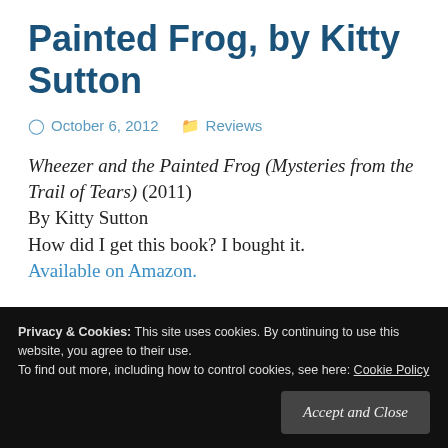Painted Frog, by Kitty Sutton
October 6, 2012   Reviews
Wheezer and the Painted Frog (Mysteries from the Trail of Tears) (2011)
By Kitty Sutton
How did I get this book? I bought it.
Available on Amazon.
Privacy & Cookies: This site uses cookies. By continuing to use this website, you agree to their use.
To find out more, including how to control cookies, see here: Cookie Policy
Accept and Close